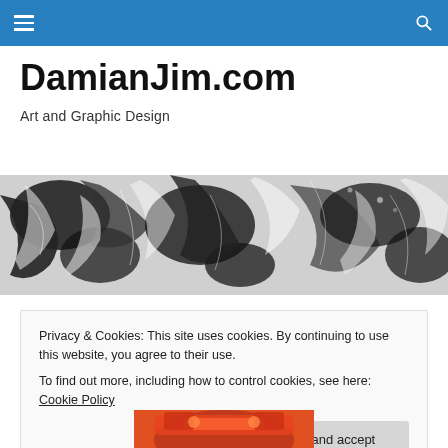DamianJim.com navigation bar
DamianJim.com
Art and Graphic Design
[Figure (illustration): Black and white abstract marbled ink art banner spanning full width]
Privacy & Cookies: This site uses cookies. By continuing to use this website, you agree to their use.
To find out more, including how to control cookies, see here: Cookie Policy
Close and accept
[Figure (photo): Partial view of colorful product image at bottom of page, predominantly red and orange tones]